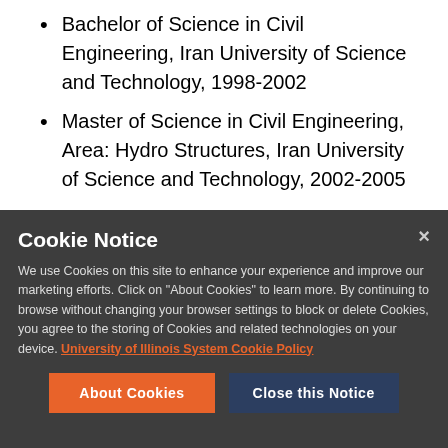Bachelor of Science in Civil Engineering, Iran University of Science and Technology, 1998-2002
Master of Science in Civil Engineering, Area: Hydro Structures, Iran University of Science and Technology, 2002-2005
Cookie Notice
We use Cookies on this site to enhance your experience and improve our marketing efforts. Click on “About Cookies” to learn more. By continuing to browse without changing your browser settings to block or delete Cookies, you agree to the storing of Cookies and related technologies on your device. University of Illinois System Cookie Policy